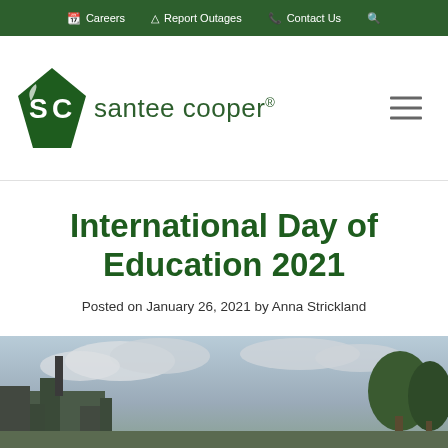Careers   Report Outages   Contact Us
[Figure (logo): Santee Cooper logo with green diamond SC icon and text 'santee cooper®']
International Day of Education 2021
Posted on January 26, 2021 by Anna Strickland
[Figure (photo): Outdoor photo showing industrial building with chimney/smokestack against a cloudy sky, with trees on the right side]